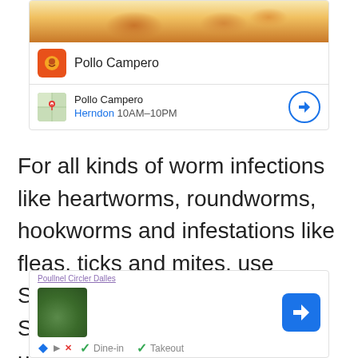[Figure (screenshot): Top advertisement card for Pollo Campero showing food image, brand logo, and location info for Herndon 10AM-10PM with navigation button]
For all kinds of worm infections like heartworms, roundworms, hookworms and infestations like fleas, ticks and mites, use Senergy Topical once a month. Senergy Topical is safe to be used throughout the year but veterinarians
[Figure (screenshot): Bottom advertisement card showing food image, Dine-in, Takeout, Delivery options and navigation button]